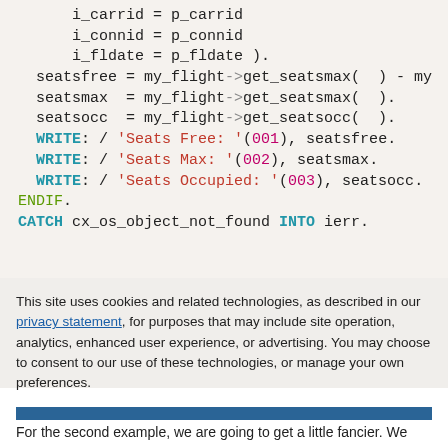[Figure (screenshot): Code snippet showing ABAP-like code with i_carrid, i_connid, i_fldate assignments, seatsfree/seatsmax/seatsocc calculations using my_flight->get_seatsmax() and get_seatsocc(), WRITE statements with format codes 001/002/003, ENDIF, and partial CATCH line]
This site uses cookies and related technologies, as described in our privacy statement, for purposes that may include site operation, analytics, enhanced user experience, or advertising. You may choose to consent to our use of these technologies, or manage your own preferences.
Accept Cookies
More Information
Privacy Policy | Powered by: TrustArc
For the second example, we are going to get a little fancier. We